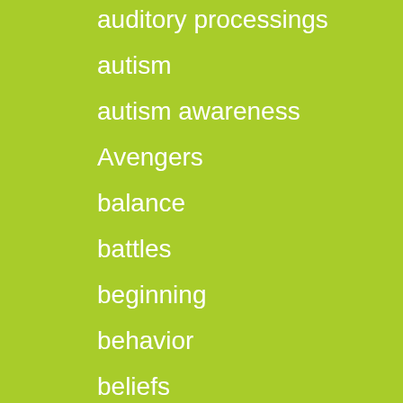auditory processings
autism
autism awareness
Avengers
balance
battles
beginning
behavior
beliefs